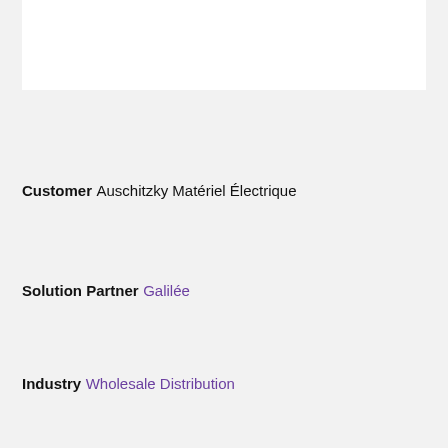[Figure (other): White rectangular image box at top of page]
Customer
Auschitzky Matériel Électrique
Solution Partner
Galilée
Industry
Wholesale Distribution